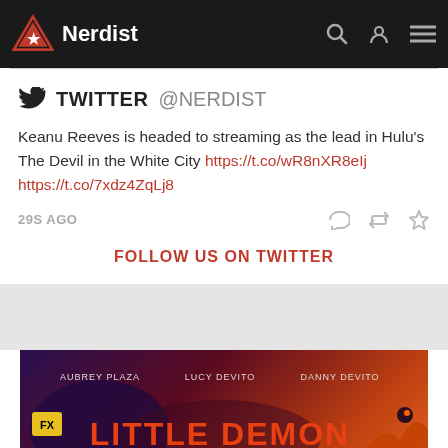Nerdist
TWITTER @NERDIST
Keanu Reeves is headed to streaming as the lead in Hulu's The Devil in the White City https://t.co/wR8nXR8eIj https://t.co/7xdz4ZqLj8
29S AGO
FOLLOW US ON TWITTER
[Figure (screenshot): Little Demon FX show promotional banner with Aubrey Plaza, Lucy DeVito, Danny DeVito text and purple/orange illustrated background]